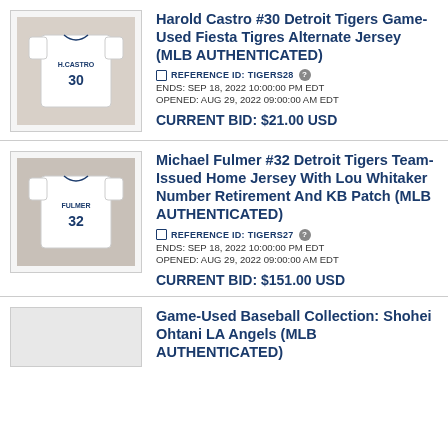[Figure (photo): Back of Harold Castro #30 Detroit Tigers white jersey on display]
Harold Castro #30 Detroit Tigers Game-Used Fiesta Tigres Alternate Jersey (MLB AUTHENTICATED)
REFERENCE ID: TIGERS28
ENDS: SEP 18, 2022 10:00:00 PM EDT
OPENED: AUG 29, 2022 09:00:00 AM EDT
CURRENT BID: $21.00 USD
[Figure (photo): Back of Michael Fulmer #32 Detroit Tigers white jersey on display]
Michael Fulmer #32 Detroit Tigers Team-Issued Home Jersey With Lou Whitaker Number Retirement And KB Patch (MLB AUTHENTICATED)
REFERENCE ID: TIGERS27
ENDS: SEP 18, 2022 10:00:00 PM EDT
OPENED: AUG 29, 2022 09:00:00 AM EDT
CURRENT BID: $151.00 USD
[Figure (photo): Partially visible baseball item image]
Game-Used Baseball Collection: Shohei Ohtani LA Angels (MLB AUTHENTICATED)